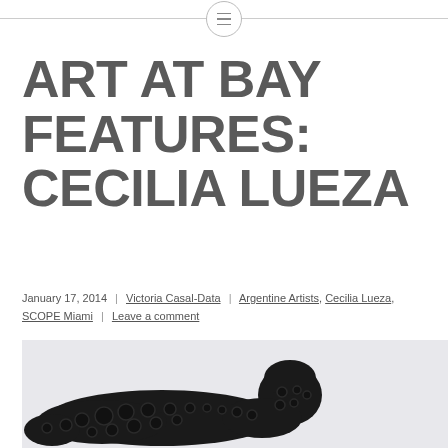☰
ART AT BAY FEATURES: CECILIA LUEZA
January 17, 2014 | Victoria Casal-Data | Argentine Artists, Cecilia Lueza, SCOPE Miami | Leave a comment
[Figure (photo): Black sculptural figure of a reclining person made of black material with circular button-like elements covering the surface, displayed against a light grey-white background.]